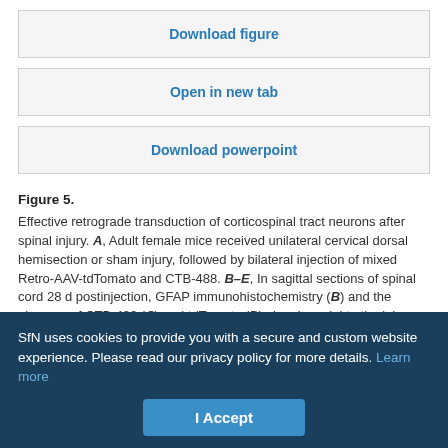Download figure
Open in new tab
Download powerpoint
Figure 5. Effective retrograde transduction of corticospinal tract neurons after spinal injury. A, Adult female mice received unilateral cervical dorsal hemisection or sham injury, followed by bilateral injection of mixed Retro-AAV-tdTomato and CTB-488. B–E, In sagittal sections of spinal cord 28 d postinjection, GFAP immunohistochemistry (B) and the absence of CTB-488 (C) and tdTomato (D) signal caudal to the injury confirmed complete dorsal transections. F, G, Coexpression of CTB-488 and tdTomato was high in CST neurons in injured animals (F) and in both cortices of animals that received unilateral spinal injury (G). H, Quantification of coexpression rates showed no difference in
SfN uses cookies to provide you with a secure and custom website experience. Please read our privacy policy for more details. Learn more
I Accept